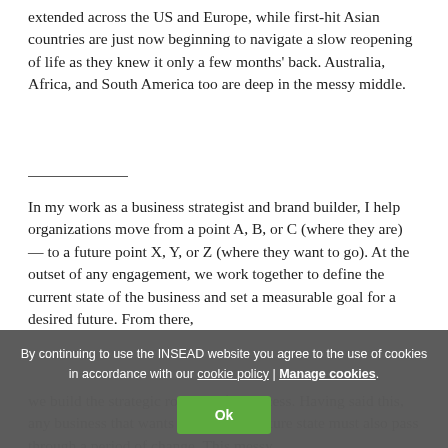extended across the US and Europe, while first-hit Asian countries are just now beginning to navigate a slow reopening of life as they knew it only a few months' back. Australia, Africa, and South America too are deep in the messy middle.
In my work as a business strategist and brand builder, I help organizations move from a point A, B, or C (where they are) — to a future point X, Y, or Z (where they want to go). At the outset of any engagement, we work together to define the current state of the business and set a measurable goal for a desired future. From there, we build the strategic roadmap for success. Having said this, any business that wants to achieve a future state must also pass through a period of change. This messy
By continuing to use the INSEAD website you agree to the use of cookies in accordance with our cookie policy | Manage cookies. Ok